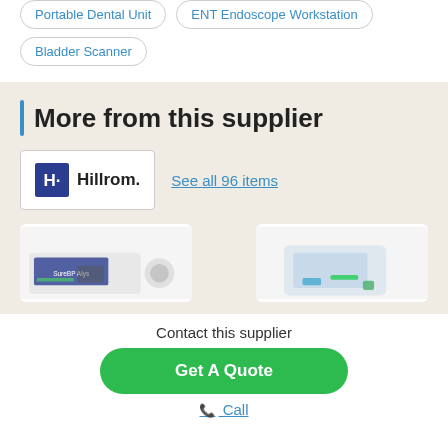Portable Dental Unit
ENT Endoscope Workstation
Bladder Scanner
More from this supplier
[Figure (logo): Hillrom logo: blue square with H icon and Hillrom. text]
See all 96 items
[Figure (photo): Two medical monitoring device product images from Hillrom]
Contact this supplier
Get A Quote
Call